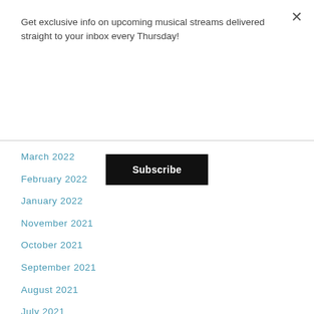Get exclusive info on upcoming musical streams delivered straight to your inbox every Thursday!
Subscribe
March 2022
February 2022
January 2022
November 2021
October 2021
September 2021
August 2021
July 2021
June 2021
May 2021